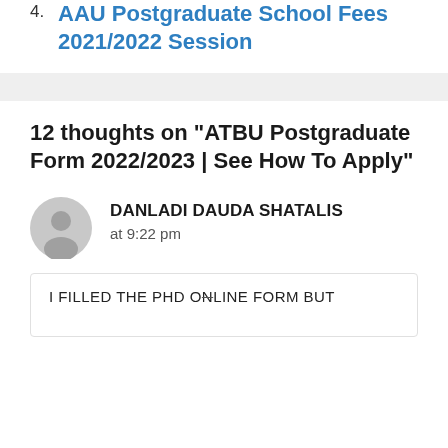4. AAU Postgraduate School Fees 2021/2022 Session
12 thoughts on “ATBU Postgraduate Form 2022/2023 | See How To Apply”
DANLADI DAUDA SHATALIS
at 9:22 pm
I FILLED THE PHD ONLINE FORM BUT